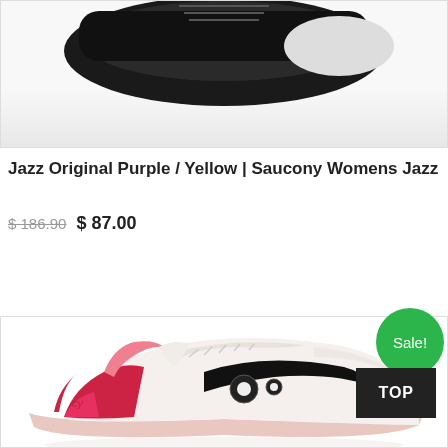[Figure (photo): Partial view of a dark sneaker shoe at the top of the page, cropped]
Jazz Original Purple / Yellow | Saucony Womens Jazz
$ 186.90  $ 87.00
Select Options
[Figure (photo): Saucony sneaker shoe in white, red/pink and black colorway with Sale! badge]
Sale!
TOP